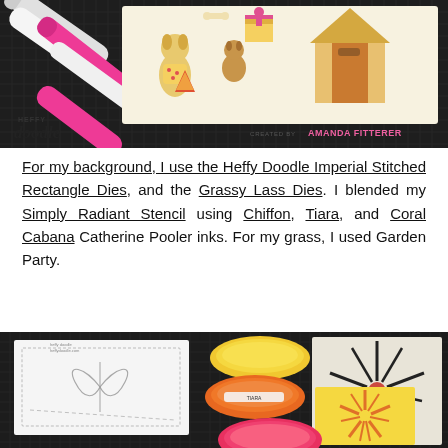[Figure (photo): Heffy Doodle craft scene showing markers on a dark cutting mat next to coloured dog stamp images on white paper. Heffy Doodle logo bottom left, 'Created by Amanda Fitterer' bottom right.]
For my background, I use the Heffy Doodle Imperial Stitched Rectangle Dies, and the Grassy Lass Dies. I blended my Simply Radiant Stencil using Chiffon, Tiara, and Coral Cabana Catherine Pooler inks. For my grass, I used Garden Party.
[Figure (photo): Bottom left: white card on dark cutting mat with a partial butterfly stamp image and stitched rectangle die cut lines visible.]
[Figure (photo): Bottom right: three oval ink pads (yellow, orange, pink/red) on dark mat next to a sunburst stencil and yellow card with radiant starburst ink blend.]